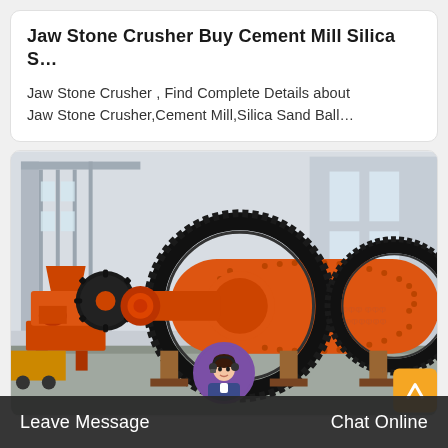Jaw Stone Crusher Buy Cement Mill Silica S…
Jaw Stone Crusher , Find Complete Details about Jaw Stone Crusher,Cement Mill,Silica Sand Ball…
[Figure (photo): Industrial ball mill / cement mill machine with large orange cylindrical drum and gear rings, photographed in a factory or industrial yard setting.]
Leave Message   Chat Online